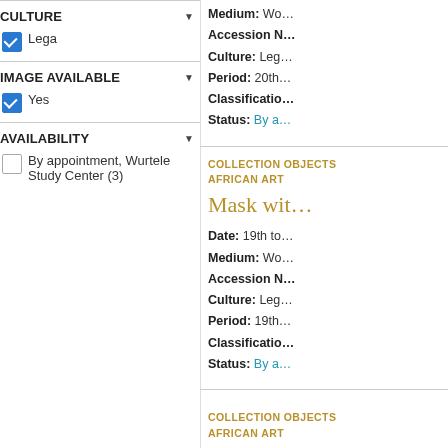CULTURE
Lega (checked)
IMAGE AVAILABLE
Yes (checked)
AVAILABILITY
By appointment, Wurtele Study Center (3) (unchecked)
Medium: Wo... Accession N... Culture: Leg... Period: 20th... Classification... Status: By a...
COLLECTION OBJECTS AFRICAN ART
Mask wit...
Date: 19th to... Medium: Wo... Accession N... Culture: Leg... Period: 19th... Classification... Status: By a...
COLLECTION OBJECTS AFRICAN ART
Mask
Date: early 2... Medium: Wo... Accession N... Culture: Lea...